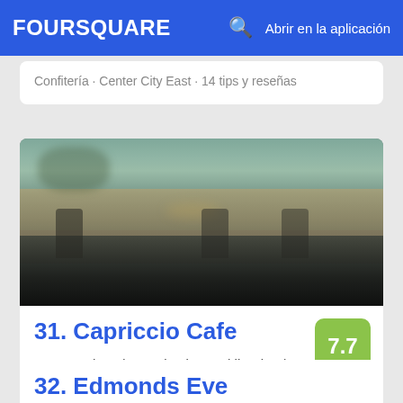FOURSQUARE  Abrir en la aplicación
Confitería · Center City East · 14 tips y reseñas
[Figure (photo): Outdoor cafe patio with dark metal chairs and tables, blurry background with trees and street scene]
31. Capriccio Cafe
110 N 16th St (at Benjamin Franklin Pkwy), Filadelfia, PA
Café · Logan Square · 23 tips y reseñas
32. Edmonds Eve